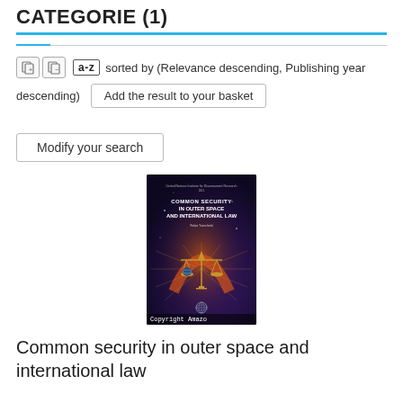CATEGORIE (1)
sorted by (Relevance descending, Publishing year descending)  Add the result to your basket
Modify your search
[Figure (photo): Book cover for 'Common Security in Outer Space and International Law'. Dark navy/purple background with scales of justice and space imagery. UN logo at bottom. Copyright Amazon watermark.]
Common security in outer space and international law